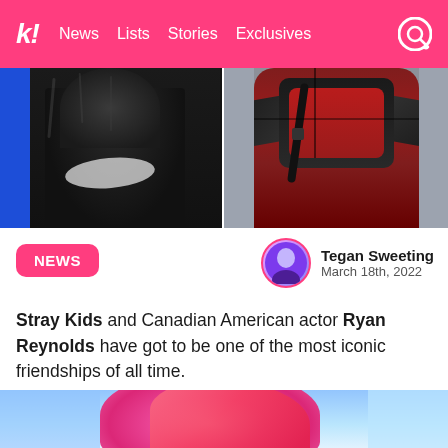k! News Lists Stories Exclusives
[Figure (photo): Two side-by-side photos: left shows a person in a black fur coat with blue background; right shows someone in a red and black Deadpool-style armor costume against a gray background.]
NEWS
Tegan Sweeting
March 18th, 2022
Stray Kids and Canadian American actor Ryan Reynolds have got to be one of the most iconic friendships of all time.
[Figure (photo): Bottom portion of an image showing a person with pink/salmon colored hair against a light blue background.]